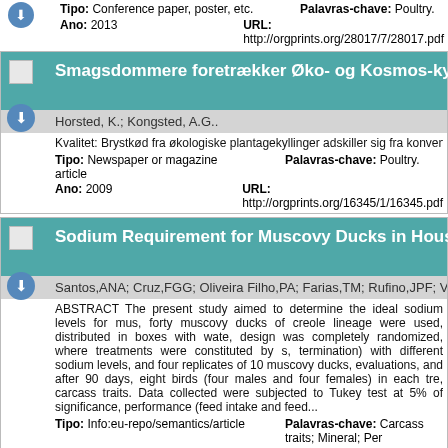Tipo: Conference paper, poster, etc.   Palavras-chave: Poultry.
Ano: 2013   URL: http://orgprints.org/28017/7/28017.pdf
Smagsdommere foretrækker Øko- og Kosmos-kyllinger
Horsted, K.; Kongsted, A.G..
Kvalitet: Brystkød fra økologiske plantagekyllinger adskiller sig fra konventionelle ky
Tipo: Newspaper or magazine article   Palavras-chave: Poultry.
Ano: 2009   URL: http://orgprints.org/16345/1/16345.pdf
Sodium Requirement for Muscovy Ducks in Housing
Santos,ANA; Cruz,FGG; Oliveira Filho,PA; Farias,TM; Rufino,JPF; Viana Fill
ABSTRACT The present study aimed to determine the ideal sodium levels for mus, forty muscovy ducks of creole lineage were used, distributed in boxes with wate, design was completely randomized, where treatments were constituted by s, termination) with different sodium levels, and four replicates of 10 muscovy ducks, evaluations, and after 90 days, eight birds (four males and four females) in each tre, carcass traits. Data collected were subjected to Tukey test at 5% of significance, performance (feed intake and feed...
Tipo: Info:eu-repo/semantics/article   Palavras-chave: Carcass traits; Mineral; Per
Ano: 2020   URL: http://www.scielo.br/scielo.php?script=s 635X2020000100300
Some adhesins of avian pathogenic Escherichia coli (AP isolated from septicemic poultry in Brazil